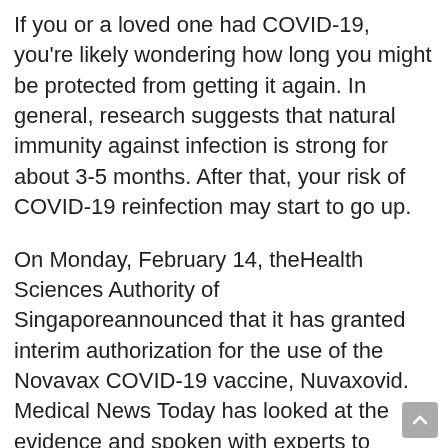If you or a loved one had COVID-19, you're likely wondering how long you might be protected from getting it again. In general, research suggests that natural immunity against infection is strong for about 3-5 months. After that, your risk of COVID-19 reinfection may start to go up.
On Monday, February 14, theHealth Sciences Authority of Singaporeannounced that it has granted interim authorization for the use of the Novavax COVID-19 vaccine, Nuvaxovid. Medical News Today has looked at the evidence and spoken with experts to uncover the truth behind the numbers. HeadhereforMNT's full study coverage, which features interviews with the study author and other experts. A new, small study suggests that treating COVID-19 with a combination of either of two antibiotics plus one steroid may be as effective as standard care and cause fewer side effects